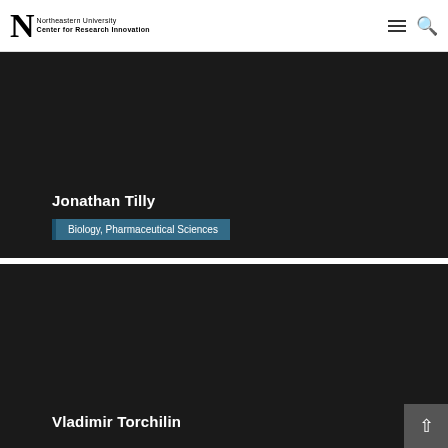Northeastern University Center for Research Innovation
[Figure (photo): Dark profile card background for Jonathan Tilly]
Jonathan Tilly
Biology, Pharmaceutical Sciences
[Figure (photo): Dark profile card background for Vladimir Torchilin]
Vladimir Torchilin